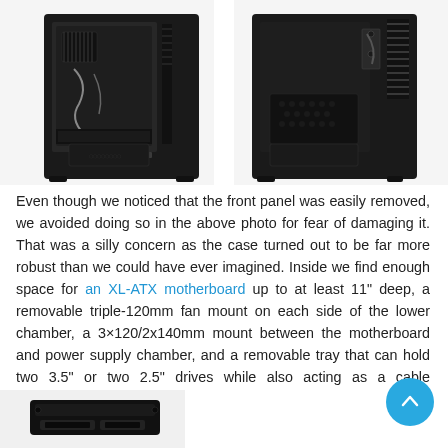[Figure (photo): Two black PC computer cases side by side, showing internal components. Left case shows front panel view with tempered glass and internal cooling fans/brackets. Right case shows similar angle with mesh panels visible.]
Even though we noticed that the front panel was easily removed, we avoided doing so in the above photo for fear of damaging it. That was a silly concern as the case turned out to be far more robust than we could have ever imagined. Inside we find enough space for an XL-ATX motherboard up to at least 11" deep, a removable triple-120mm fan mount on each side of the lower chamber, a 3×120/2x140mm mount between the motherboard and power supply chamber, and a removable tray that can hold two 3.5" or two 2.5" drives while also acting as a cable management device.
[Figure (photo): Partial view of a black PC component (bracket or drive tray) at the bottom of the page.]